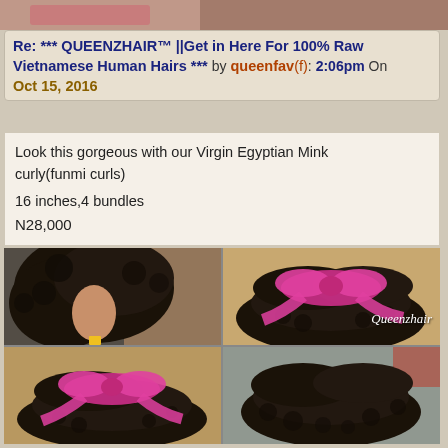[Figure (photo): Top strip showing partial image of a person in red/pink clothing]
Re: *** QUEENZHAIR™ ||Get in Here For 100% Raw Vietnamese Human Hairs *** by queenfav(f): 2:06pm On Oct 15, 2016
Look this gorgeous with our Virgin Egyptian Mink curly(funmi curls)
16 inches,4 bundles
N28,000
[Figure (photo): Four product photos: top-left shows woman with big curly hair, top-right shows black curly hair bundles with pink ribbon watermarked Queenzhair, bottom-left shows curly bundles with pink ribbon, bottom-right shows more curly hair bundles]